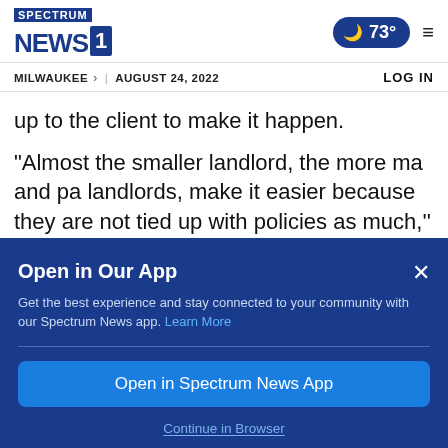Spectrum News 1 — MILWAUKEE | AUGUST 24, 2022 — 73° — LOG IN
up to the client to make it happen.
“Almost the smaller landlord, the more ma and pa landlords, make it easier because they are not tied up with policies as much,’’ said Hannah. “Employers, probably the same thing as a lot of
Open in Our App
Get the best experience and stay connected to your community with our Spectrum News app. Learn More
Open in Spectrum News App
Continue in Browser